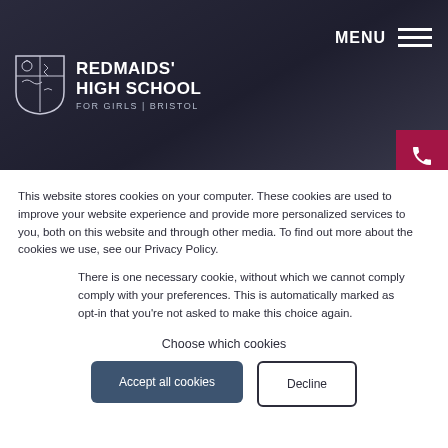REDMAIDS' HIGH SCHOOL FOR GIRLS | BRISTOL
This website stores cookies on your computer. These cookies are used to improve your website experience and provide more personalized services to you, both on this website and through other media. To find out more about the cookies we use, see our Privacy Policy.
There is one necessary cookie, without which we cannot comply comply with your preferences. This is automatically marked as opt-in that you're not asked to make this choice again.
Choose which cookies
Accept all cookies
Decline